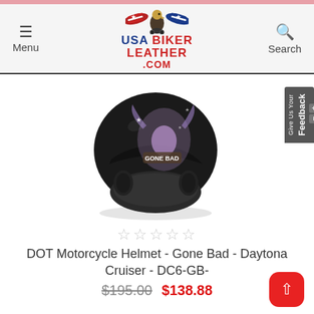Menu | USA Biker Leather .com | Search
[Figure (photo): Black DOT motorcycle open-face helmet with Gone Bad unicorn/fantasy graphic design, shown at an angle on white background]
☆☆☆☆☆
DOT Motorcycle Helmet - Gone Bad - Daytona Cruiser - DC6-GB-
$195.00  $138.88